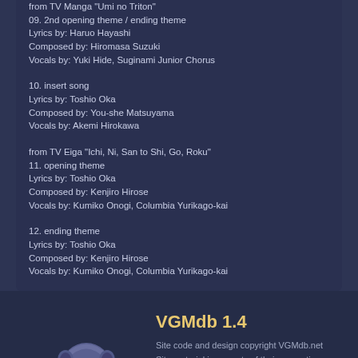from TV Manga "Umi no Triton"
09. 2nd opening theme / ending theme
Lyrics by: Haruo Hayashi
Composed by: Hiromasa Suzuki
Vocals by: Yuki Hide, Suginami Junior Chorus
10. insert song
Lyrics by: Toshio Oka
Composed by: You-she Matsuyama
Vocals by: Akemi Hirokawa
from TV Eiga "Ichi, Ni, San to Shi, Go, Roku"
11. opening theme
Lyrics by: Toshio Oka
Composed by: Kenjiro Hirose
Vocals by: Kumiko Onogi, Columbia Yurikago-kai
12. ending theme
Lyrics by: Toshio Oka
Composed by: Kenjiro Hirose
Vocals by: Kumiko Onogi, Columbia Yurikago-kai
[Figure (illustration): VGMdb mascot character: a cartoon boy wearing headphones, sitting on a stack of records, with musical notes around him, rendered in blue-grey tones]
VGMdb 1.4
Site code and design copyright VGMdb.net
Site material is property of their respective owners.
All times are GMT -8. The time now is 11:30 AM.